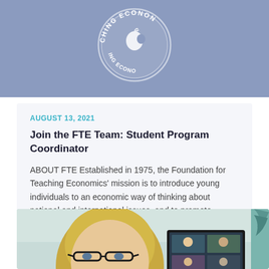[Figure (logo): Foundation for Teaching Economics circular logo with white text on blue-grey background, partially visible showing 'CHING ECONON' arc text]
AUGUST 13, 2021
Join the FTE Team: Student Program Coordinator
ABOUT FTE Established in 1975, the Foundation for Teaching Economics' mission is to introduce young individuals to an economic way of thinking about national and international issues, and to promote excellence in economic education by helping teachers of...
[Figure (photo): Photo of a blonde woman with glasses looking at a computer monitor, taken from a low angle. Background shows a light teal/green wall.]